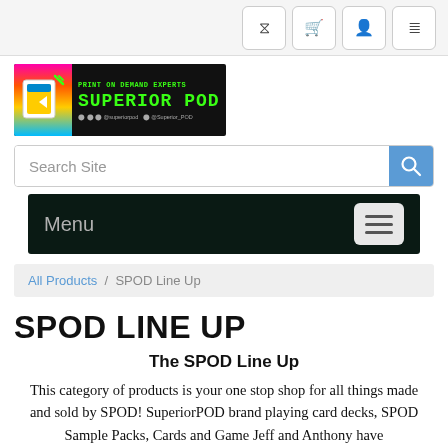[Figure (logo): Superior POD - Print on Demand Experts logo with green text on dark background and colorful left panel]
Search Site
Menu
All Products / SPOD Line Up
SPOD LINE UP
The SPOD Line Up
This category of products is your one stop shop for all things made and sold by SPOD! SuperiorPOD brand playing card decks, SPOD Sample Packs, Cards and Game Jeff and Anthony have